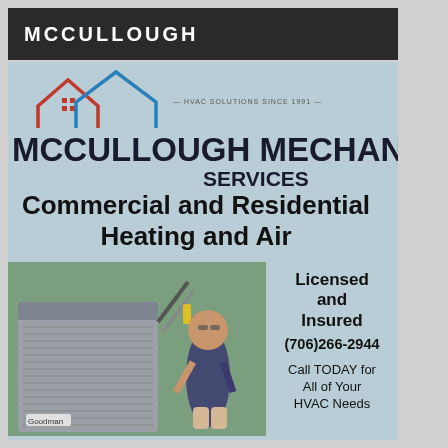MCCULLOUGH
[Figure (photo): McCullough Mechanical Services advertisement with house/HVAC logo, photo of technician with AC unit, company name, services description, phone number and call to action.]
Commercial and Residential Heating and Air
Licensed and Insured
(706)266-2944
Call TODAY for All of Your HVAC Needs